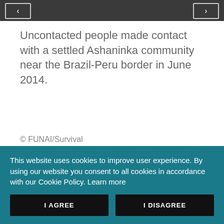[Figure (photo): Partial view of a photograph showing people near the Brazil-Peru border, with navigation arrows on left and right sides against a dark background]
Uncontacted people made contact with a settled Ashaninka community near the Brazil-Peru border in June 2014.
© FUNAI/Survival
This website uses cookies to improve user experience. By using our website you consent to all cookies in accordance with our Cookie Policy. Learn more
I AGREE
I DISAGREE